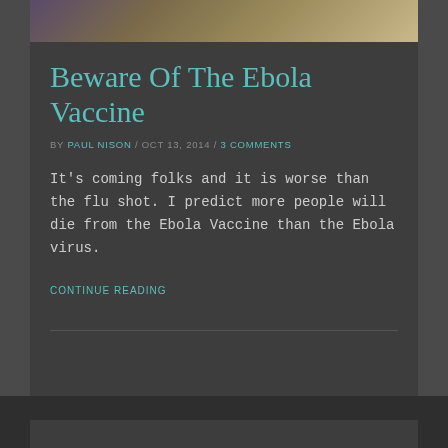[Figure (photo): Hero image at top of article, showing blurred biological/medical imagery with purple and tan tones]
Beware Of The Ebola Vaccine
BY PAUL NISON / OCT 13, 2014 / 3 COMMENTS
It's coming folks and it is worse than the flu shot. I predict more people will die from the Ebola Vaccine than the Ebola virus.
CONTINUE READING